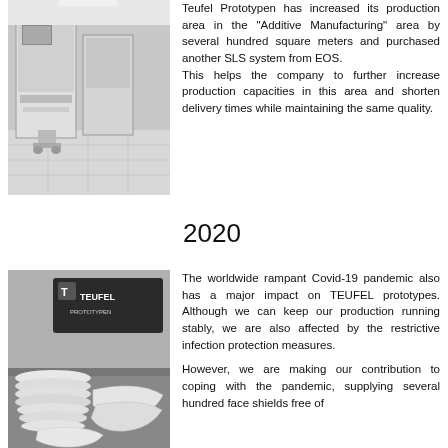[Figure (photo): Black and white photo of an industrial manufacturing machine (SLS system) in a production facility]
Teufel Prototypen has increased its production area in the "Additive Manufacturing" area by several hundred square meters and purchased another SLS system from EOS. This helps the company to further increase production capacities in this area and shorten delivery times while maintaining the same quality.
2020
[Figure (photo): Black and white photo of 3D printed face shields/visors stacked on a table, with Teufel Prototypen branding sign in background]
The worldwide rampant Covid-19 pandemic also has a major impact on TEUFEL prototypes. Although we can keep our production running stably, we are also affected by the restrictive infection protection measures.

However, we are making our contribution to coping with the pandemic, supplying several hundred face shields free of